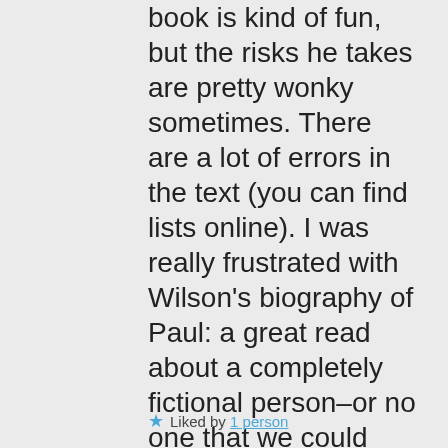book is kind of fun, but the risks he takes are pretty wonky sometimes. There are a lot of errors in the text (you can find lists online). I was really frustrated with Wilson's biography of Paul: a great read about a completely fictional person–or no one that we could recognize from the texts. I do think, in reading things, that the last 5 years of Mrs. Moore were pretty hard. That is life, though.
★ Liked by 1 person